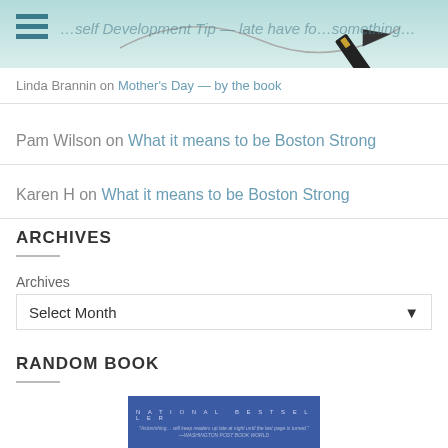[Figure (screenshot): Website header banner with teal gradient background, hamburger menu icon on left, decorative pen/wave graphic on right, faded italic text overlay]
Linda Brannin on Mother's Day — by the book
Pam Wilson on What it means to be Boston Strong
Karen H on What it means to be Boston Strong
ARCHIVES
Archives
Select Month
RANDOM BOOK
[Figure (photo): Book cover with blue background showing NATIONAL BESTSELLER text and a quote from Washington Post Book World]